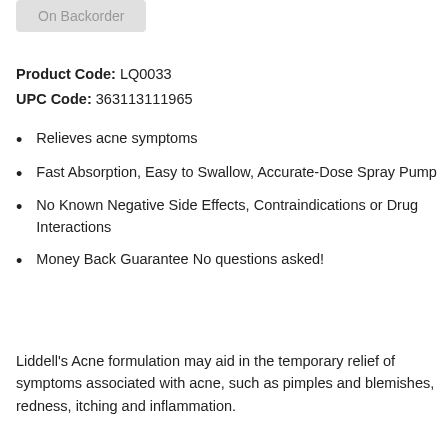On Backorder
Product Code: LQ0033
UPC Code: 363113111965
Relieves acne symptoms
Fast Absorption, Easy to Swallow, Accurate-Dose Spray Pump
No Known Negative Side Effects, Contraindications or Drug Interactions
Money Back Guarantee No questions asked!
Liddell's Acne formulation may aid in the temporary relief of symptoms associated with acne, such as pimples and blemishes, redness, itching and inflammation.